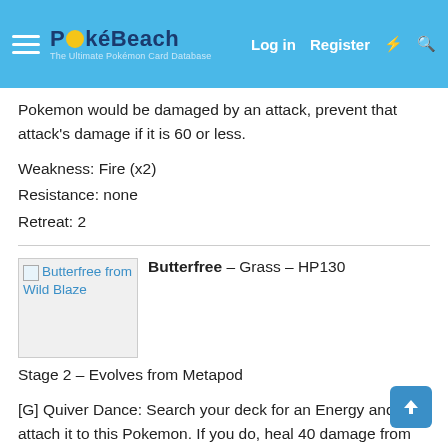PokéBeach — Log in — Register
Pokemon would be damaged by an attack, prevent that attack's damage if it is 60 or less.
Weakness: Fire (x2)
Resistance: none
Retreat: 2
[Figure (photo): Butterfree from Wild Blaze card image placeholder]
Butterfree – Grass – HP130
Stage 2 – Evolves from Metapod
[G] Quiver Dance: Search your deck for an Energy and attach it to this Pokemon. If you do, heal 40 damage from